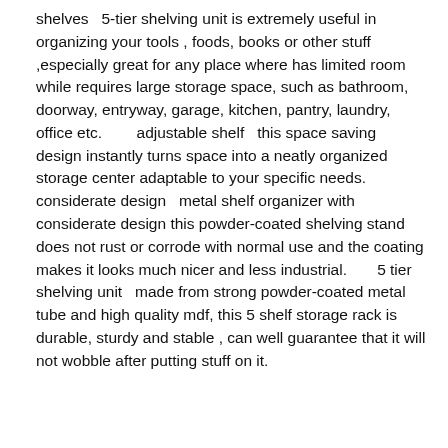shelves   5-tier shelving unit is extremely useful in organizing your tools , foods, books or other stuff ,especially great for any place where has limited room while requires large storage space, such as bathroom, doorway, entryway, garage, kitchen, pantry, laundry, office etc.       adjustable shelf   this space saving design instantly turns space into a neatly organized storage center adaptable to your specific needs.       considerate design   metal shelf organizer with considerate design this powder-coated shelving stand does not rust or corrode with normal use and the coating makes it looks much nicer and less industrial.       5 tier shelving unit   made from strong powder-coated metal tube and high quality mdf, this 5 shelf storage rack is durable, sturdy and stable , can well guarantee that it will not wobble after putting stuff on it.